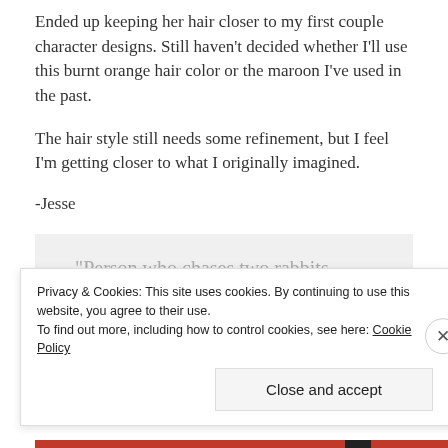Ended up keeping her hair closer to my first couple character designs.  Still haven’t decided whether I’ll use this burnt orange hair color or the maroon I’ve used in the past.
The hair style still needs some refinement, but I feel I’m getting closer to what I originally imagined.
-Jesse
“Person who chases two rabbits catches neither.” – Confucius
Privacy & Cookies: This site uses cookies. By continuing to use this website, you agree to their use.
To find out more, including how to control cookies, see here: Cookie Policy
Close and accept